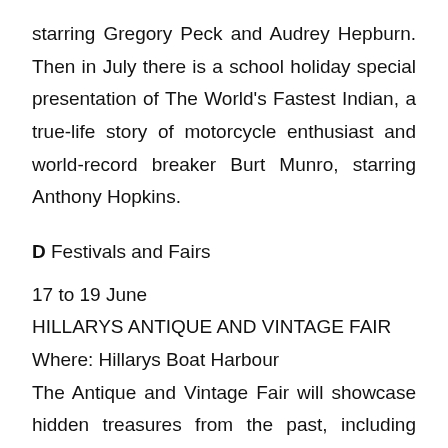starring Gregory Peck and Audrey Hepburn. Then in July there is a school holiday special presentation of The World's Fastest Indian, a true-life story of motorcycle enthusiast and world-record breaker Burt Munro, starring Anthony Hopkins.
D Festivals and Fairs
17 to 19 June
HILLARYS ANTIQUE AND VINTAGE FAIR
Where: Hillarys Boat Harbour
The Antique and Vintage Fair will showcase hidden treasures from the past, including fascinating items from antique furniture to retro fashion. Antique valuers will also be on the premises to give expert advice on